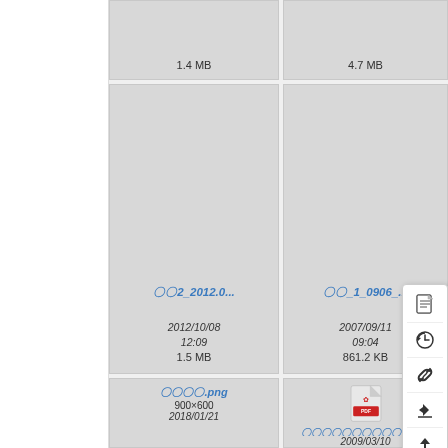[Figure (screenshot): File manager grid view showing file thumbnails. Top row shows two partially visible file cards with sizes 1.4 MB and 4.7 MB. Middle row shows two file cards: first with filename starting with japanese characters '〇〇2_2012.0...' dated 2012/10/08 12:09 size 1.5 MB; second with filename '〇〇_1_0906_...' dated 2007/09/11 09:04 size 861.2 KB. A context menu is overlaid with icons for document, history, link, move, and upload. Bottom row shows two file cards: first '〇〇〇〇.png' 900×600 dated 2018/01/21; second '〇〇〇〇〇〇〇〇〇〇〇.pdf' dated 2009/03/10 with a PDF icon visible.]